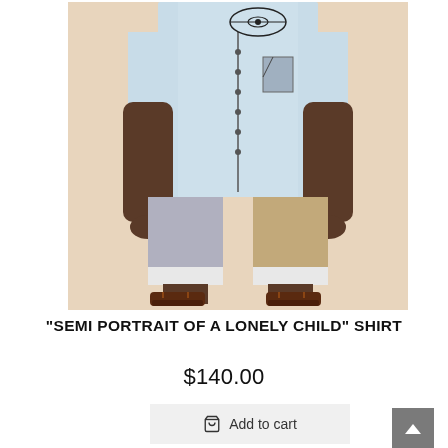[Figure (photo): Fashion product photo of a person wearing a light blue button-up shirt with graphic print and color-block trousers (grey, khaki, white) with brown sandals, against a beige background.]
"SEMI PORTRAIT OF A LONELY CHILD" SHIRT
$140.00
Add to cart